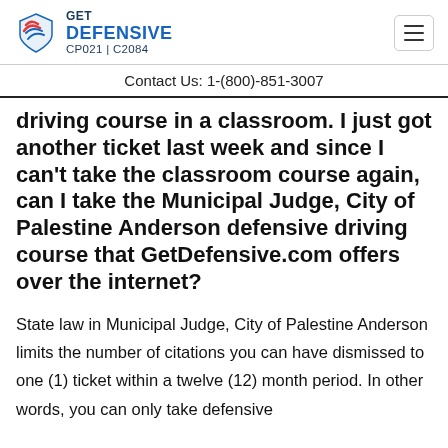[Figure (logo): Get Defensive logo with shield icon and text GET DEFENSIVE CP021 | C2084]
Contact Us: 1-(800)-851-3007
driving course in a classroom. I just got another ticket last week and since I can't take the classroom course again, can I take the Municipal Judge, City of Palestine Anderson defensive driving course that GetDefensive.com offers over the internet?
State law in Municipal Judge, City of Palestine Anderson limits the number of citations you can have dismissed to one (1) ticket within a twelve (12) month period. In other words, you can only take defensive